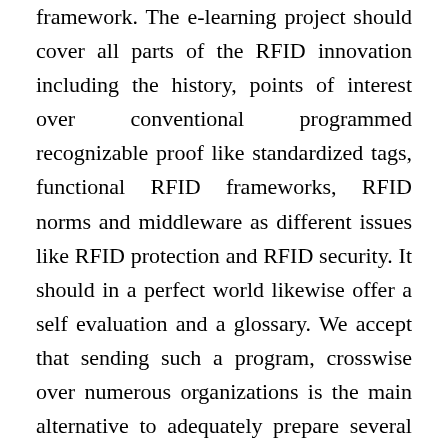framework. The e-learning project should cover all parts of the RFID innovation including the history, points of interest over conventional programmed recognizable proof like standardized tags, functional RFID frameworks, RFID norms and middleware as different issues like RFID protection and RFID security. It should in a perfect world likewise offer a self evaluation and a glossary. We accept that sending such a program, crosswise over numerous organizations is the main alternative to adequately prepare several individuals, in a financially savvy way, with the goal that the real execution of the framework should be possible easily. It is fundamental to expedite all individuals' board, cause them to comprehend this RFID innovation better and let them install of ante disinite.